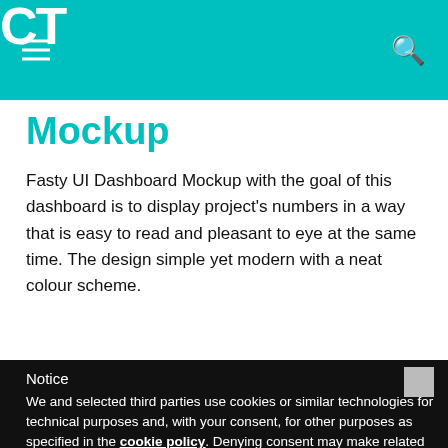CT
Mockup
Fasty UI Dashboard Mockup with the goal of this dashboard is to display project's numbers in a way that is easy to read and pleasant to eye at the same time. The design simple yet modern with a neat colour scheme.
Notice
We and selected third parties use cookies or similar technologies for technical purposes and, with your consent, for other purposes as specified in the cookie policy. Denying consent may make related features unavailable.
You can consent to the use of such technologies by closing this notice, by scrolling this page, by interacting with any link or button outside of this notice or by continuing to browse otherwise.